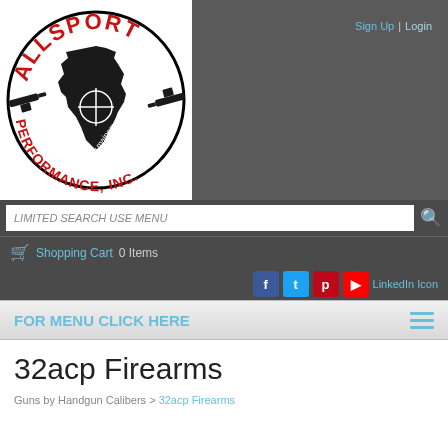[Figure (logo): Allsport Performance Inc. circular logo with guns, crosshair on Maine state silhouette, red text reading ALLSPORT and PERFORMANCE, INC., website www.mainegundealer.com]
Sign Up  |  Login
LIMITED SEARCH USE MENU
Shopping Cart   0 Items
LinkedIn Icon
FOR MENU CLICK HERE
32acp Firearms
Guns by Handgun Calibers > 32acp Firearms